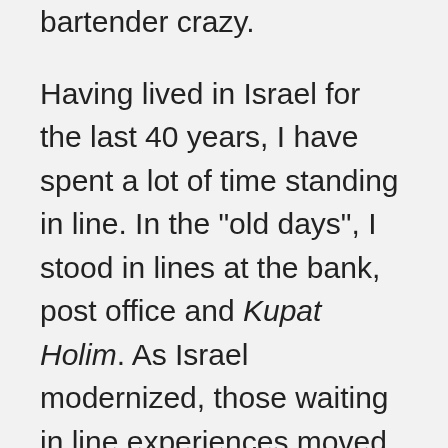bartender crazy.
Having lived in Israel for the last 40 years, I have spent a lot of time standing in line. In the "old days", I stood in lines at the bank, post office and Kupat Holim. As Israel modernized, those waiting in line experiences moved to the supermarkets, pharmacies and parking Lots. Today, most of us experience waiting in line when going through security checks at the airport, trying to get seated at a popular restaurant or getting into a sold-out concert. The big difference